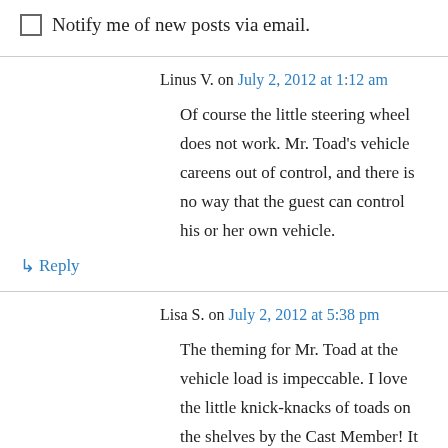Notify me of new posts via email.
Linus V. on July 2, 2012 at 1:12 am
Of course the little steering wheel does not work. Mr. Toad's vehicle careens out of control, and there is no way that the guest can control his or her own vehicle.
↳ Reply
Lisa S. on July 2, 2012 at 5:38 pm
The theming for Mr. Toad at the vehicle load is impeccable. I love the little knick-knacks of toads on the shelves by the Cast Member! It looks like